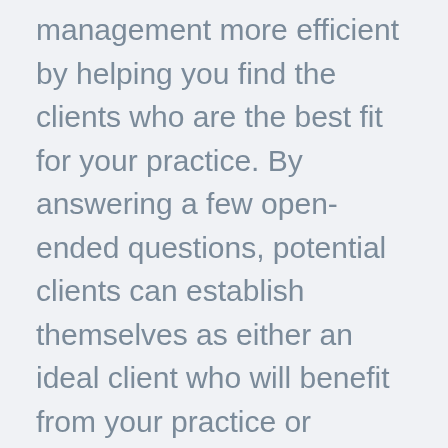management more efficient by helping you find the clients who are the best fit for your practice. By answering a few open-ended questions, potential clients can establish themselves as either an ideal client who will benefit from your practice or someone who is perhaps better seen by one of your colleagues.
Related posts:
Reduce contact in your waiting room with web forms
3 ways to give your web form to your clients
3 web forms to set communication